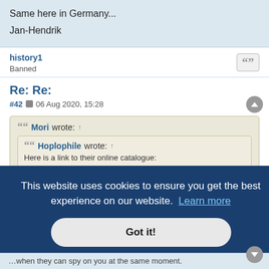Same here in Germany...

Jan-Hendrik
history1
Banned
Re: Re:
#42  06 Aug 2020, 15:28
Mori wrote: ↑

Hoplophile wrote: ↑
Here is a link to their online catalogue:
This website uses cookies to ensure you get the best experience on our website. Learn more

Got it!